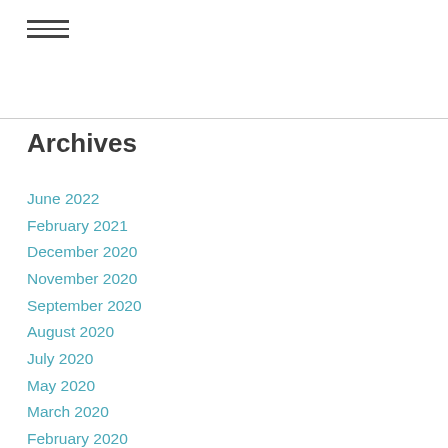≡
Archives
June 2022
February 2021
December 2020
November 2020
September 2020
August 2020
July 2020
May 2020
March 2020
February 2020
December 2019
November 2019
October 2019
September 2019
August 2019
July 2019